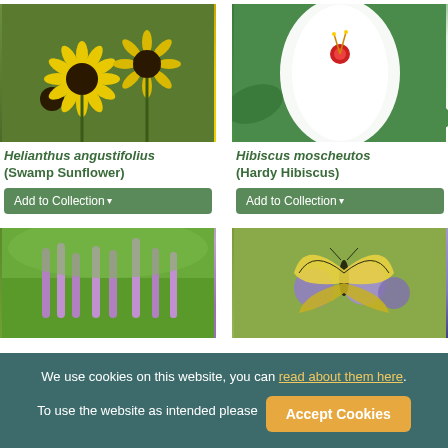[Figure (photo): Close-up photo of yellow Helianthus angustifolius (Swamp Sunflower) blooms with dark centers against green foliage]
[Figure (photo): Close-up photo of white Hibiscus moscheutos (Hardy Hibiscus) flower with red stamens against green leaves]
Helianthus angustifolius (Swamp Sunflower)
Hibiscus moscheutos (Hardy Hibiscus)
[Figure (photo): Garden view of purple Liatris spicata spikes in a green landscape]
[Figure (photo): Swallowtail butterfly on purple Monarda (bee balm) flowers]
We use cookies on this website, you can read about them here. To use the website as intended please  Accept Cookies